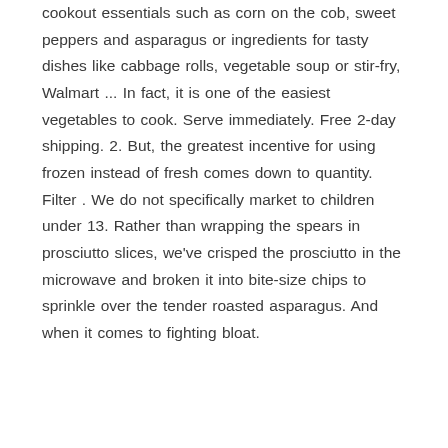like lettuce, tomatoes and zucchinis, cookout essentials such as corn on the cob, sweet peppers and asparagus or ingredients for tasty dishes like cabbage rolls, vegetable soup or stir-fry, Walmart ... In fact, it is one of the easiest vegetables to cook. Serve immediately. Free 2-day shipping. 2. But, the greatest incentive for using frozen instead of fresh comes down to quantity. Filter . We do not specifically market to children under 13. Rather than wrapping the spears in prosciutto slices, we've crisped the prosciutto in the microwave and broken it into bite-size chips to sprinkle over the tender roasted asparagus. And when it comes to fighting bloat.